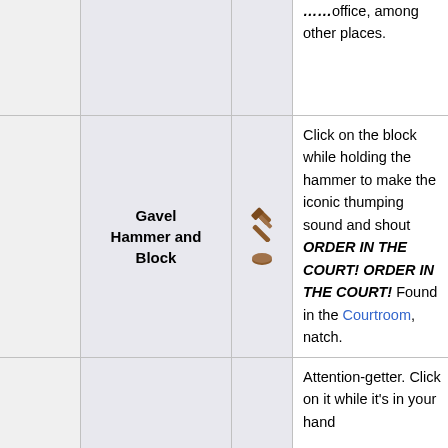|  | Name | Icon | Description |
| --- | --- | --- | --- |
|  |  |  | office, among other places. |
|  | Gavel Hammer and Block | 🔨 🟤 | Click on the block while holding the hammer to make the iconic thumping sound and shout ORDER IN THE COURT! ORDER IN THE COURT! Found in the Courtroom, natch. |
|  |  |  | Attention-getter. Click on it while it's in your hand |